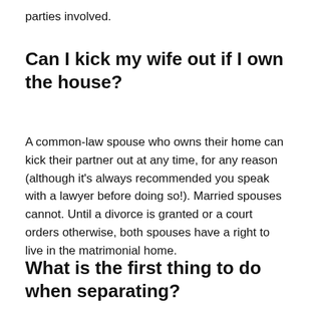parties involved.
Can I kick my wife out if I own the house?
A common-law spouse who owns their home can kick their partner out at any time, for any reason (although it's always recommended you speak with a lawyer before doing so!). Married spouses cannot. Until a divorce is granted or a court orders otherwise, both spouses have a right to live in the matrimonial home.
What is the first thing to do when separating?